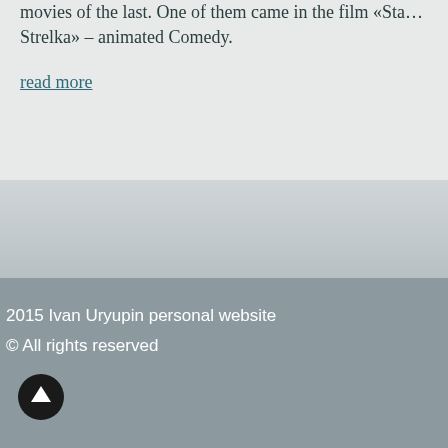movies of the last. One of them came in the film «Strelka» – animated Comedy.
read more
2015 Ivan Uryupin personal website
© All rights reserved